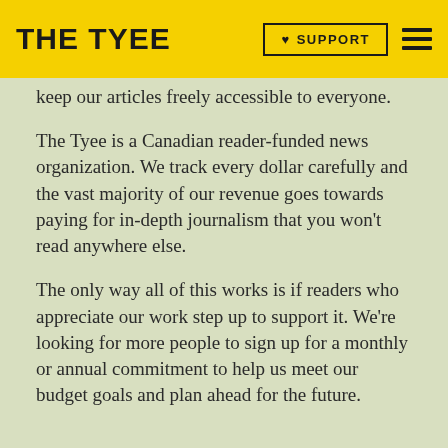THE TYEE
keep our articles freely accessible to everyone.
The Tyee is a Canadian reader-funded news organization. We track every dollar carefully and the vast majority of our revenue goes towards paying for in-depth journalism that you won't read anywhere else.
The only way all of this works is if readers who appreciate our work step up to support it. We're looking for more people to sign up for a monthly or annual commitment to help us meet our budget goals and plan ahead for the future.